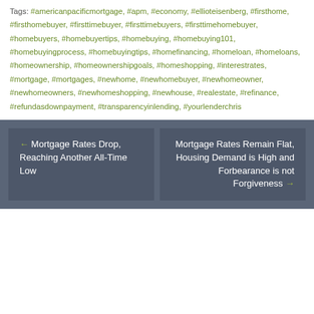Tags: #americanpacificmortgage, #apm, #economy, #ellioteisenberg, #firsthome, #firsthomebuyer, #firsttimebuyer, #firsttimebuyers, #firsttimehomebuyer, #homebuyers, #homebuyertips, #homebuying, #homebuying101, #homebuyingprocess, #homebuyingtips, #homefinancing, #homeloan, #homeloans, #homeownership, #homeownershipgoals, #homeshopping, #interestrates, #mortgage, #mortgages, #newhome, #newhomebuyer, #newhomeowner, #newhomeowners, #newhomeshopping, #newhouse, #realestate, #refinance, #refundasdownpayment, #transparencyinlending, #yourlenderchris
← Mortgage Rates Drop, Reaching Another All-Time Low
Mortgage Rates Remain Flat, Housing Demand is High and Forbearance is not Forgiveness →